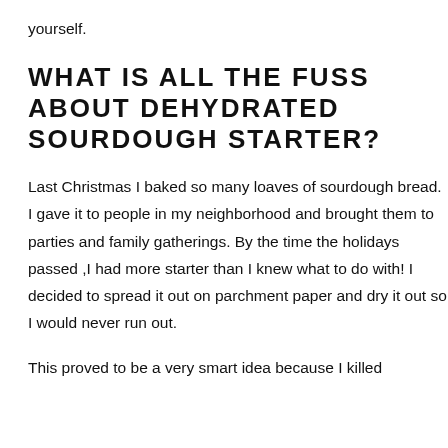yourself.
WHAT IS ALL THE FUSS ABOUT DEHYDRATED SOURDOUGH STARTER?
Last Christmas I baked so many loaves of sourdough bread. I gave it to people in my neighborhood and brought them to parties and family gatherings. By the time the holidays passed ,I had more starter than I knew what to do with! I decided to spread it out on parchment paper and dry it out so I would never run out.
This proved to be a very smart idea because I killed